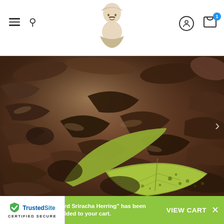Navigation header with hamburger menu, search, logo, user icon, cart with badge (1)
[Figure (photo): Close-up photo of pickled herring fish pieces in marinade with a bay leaf and onion slices in a dark glossy liquid]
"Lemon Mustard Sriracha Herring" has been added to your cart.
VIEW CART
[Figure (logo): TrustedSite Certified Secure badge with green checkmark shield and blue TrustedSite text]